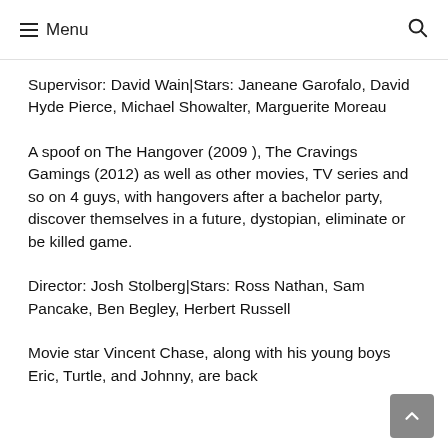≡ Menu 🔍
Supervisor: David Wain|Stars: Janeane Garofalo, David Hyde Pierce, Michael Showalter, Marguerite Moreau
A spoof on The Hangover (2009 ), The Cravings Gamings (2012) as well as other movies, TV series and so on 4 guys, with hangovers after a bachelor party, discover themselves in a future, dystopian, eliminate or be killed game.
Director: Josh Stolberg|Stars: Ross Nathan, Sam Pancake, Ben Begley, Herbert Russell
Movie star Vincent Chase, along with his young boys Eric, Turtle, and Johnny, are back